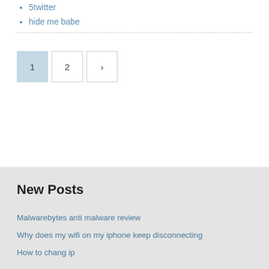5twitter
hide me babe
New Posts
Malwarebytes anti malware review
Why does my wifi on my iphone keep disconnecting
How to chang ip